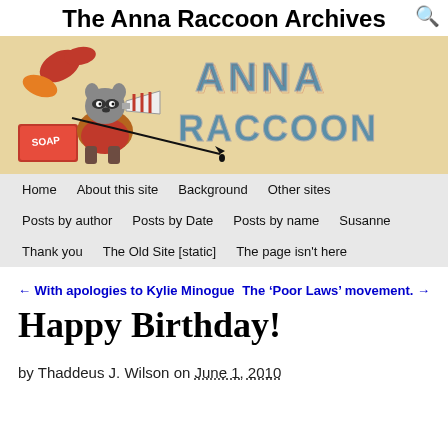The Anna Raccoon Archives
[Figure (illustration): Anna Raccoon blog banner illustration showing a cartoon raccoon sitting on a soap box, holding a quill pen, with large stylized 'ANNA RACCOON' text in the background]
Home  About this site  Background  Other sites  Posts by author  Posts by Date  Posts by name  Susanne  Thank you  The Old Site [static]  The page isn't here
← With apologies to Kylie Minogue    The 'Poor Laws' movement. →
Happy Birthday!
by Thaddeus J. Wilson on June 1, 2010